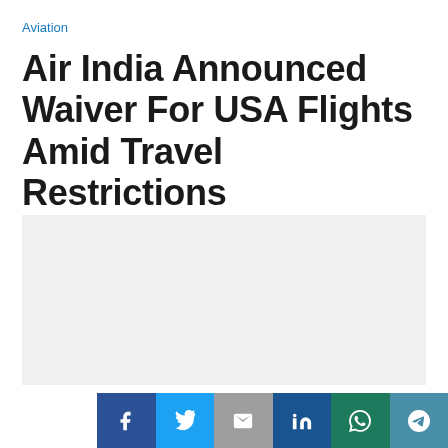Aviation
Air India Announced Waiver For USA Flights Amid Travel Restrictions
[Figure (photo): Light grey placeholder image area for article photo]
[Figure (infographic): Social media sharing buttons: Facebook, Twitter, Email, LinkedIn, WhatsApp, Telegram]